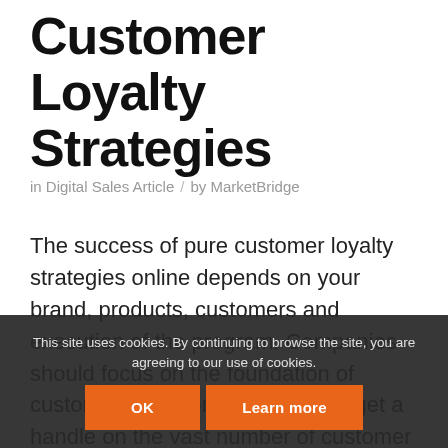Customer Loyalty Strategies
in Digital Sales Article / by MarketBridge
The success of pure customer loyalty strategies online depends on your brand, products, customers and execution of the program. Companies should focus on the foundation of customer's and long-term how to get a handle on the vast number of customer retention st…
This site uses cookies. By continuing to browse the site, you are agreeing to our use of cookies.
OK
Learn more